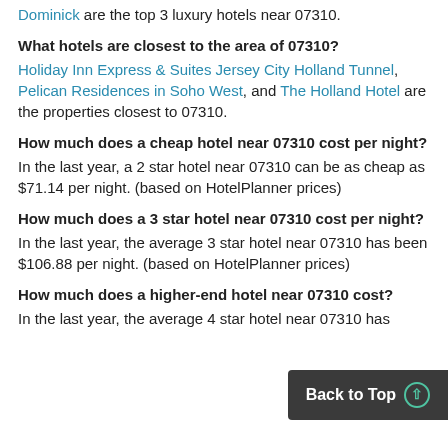Dominick are the top 3 luxury hotels near 07310.
What hotels are closest to the area of 07310?
Holiday Inn Express & Suites Jersey City Holland Tunnel, Pelican Residences in Soho West, and The Holland Hotel are the properties closest to 07310.
How much does a cheap hotel near 07310 cost per night?
In the last year, a 2 star hotel near 07310 can be as cheap as $71.14 per night. (based on HotelPlanner prices)
How much does a 3 star hotel near 07310 cost per night?
In the last year, the average 3 star hotel near 07310 has been $106.88 per night. (based on HotelPlanner prices)
How much does a higher-end hotel near 07310 cost?
In the last year, the average 4 star hotel near 07310 has